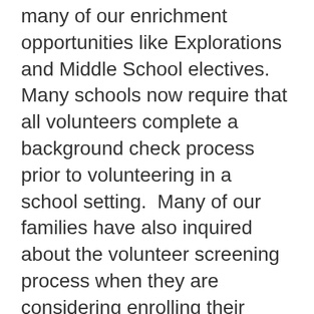many of our enrichment opportunities like Explorations and Middle School electives. Many schools now require that all volunteers complete a background check process prior to volunteering in a school setting. Many of our families have also inquired about the volunteer screening process when they are considering enrolling their children at Exploris.
The governance committee has been discussing this topic throughout the year and would like to to gather the opinions of our parents and guardians to help guide next